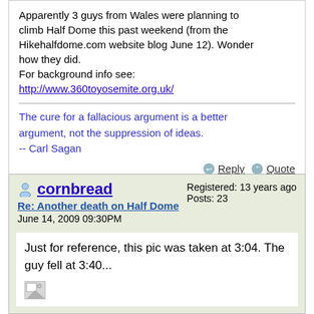Apparently 3 guys from Wales were planning to climb Half Dome this past weekend (from the Hikehalfdome.com website blog June 12). Wonder how they did.
For background info see:
http://www.360toyosemite.org.uk/
The cure for a fallacious argument is a better argument, not the suppression of ideas.
-- Carl Sagan
Reply  Quote
cornbread
Re: Another death on Half Dome
June 14, 2009 09:30PM
Registered: 13 years ago
Posts: 23
Just for reference, this pic was taken at 3:04. The guy fell at 3:40...
[Figure (photo): Broken/missing image placeholder]